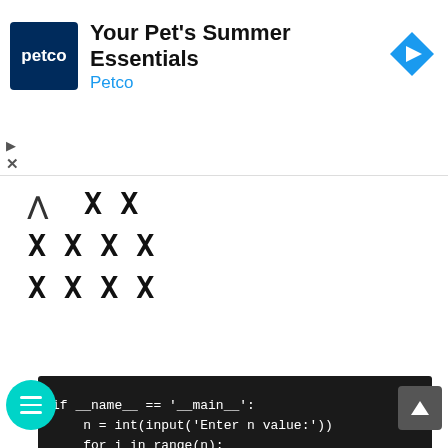[Figure (screenshot): Petco advertisement banner with logo, title 'Your Pet's Summer Essentials', subtitle 'Petco', and a navigation arrow icon on the right]
^ XX
XXXX
XXXX
[Figure (screenshot): Dark-themed code editor showing Python code: if __name__ == '__main__': n = int(input('Enter n value:')) for i in range(n): print(('Z ')*n) Output: Enter n value:6 Z Z Z Z Z Z Z Z Z Z Z]